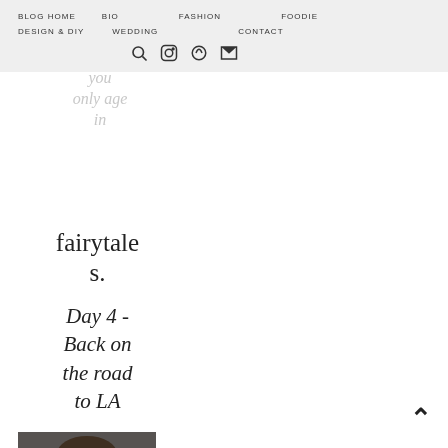BLOG HOME   BIO   FASHION   FOODIE   DESIGN & DIY   WEDDING   CONTACT
you only age in fairytales.
Day 4 - Back on the road to LA
[Figure (photo): Person drinking from a white cup, wearing red clothing]
I think I had a latte (or two)